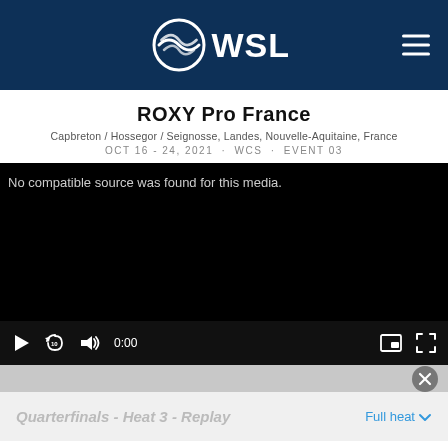WSL logo and navigation header
ROXY Pro France
Capbreton / Hossegor / Seignosse, Landes, Nouvelle-Aquitaine, France
OCT 16 - 24, 2021 · WCS · EVENT 03
[Figure (screenshot): Video player showing black screen with text 'No compatible source was found for this media.' and playback controls at bottom (play button, rewind 10s, volume, time 0:00, picture-in-picture, fullscreen)]
Quarterfinals - Heat 3 - Replay
Full heat